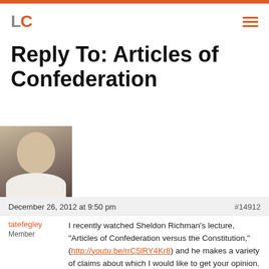LC
Reply To: Articles of Confederation
December 26, 2012 at 9:50 pm  #14912
tatefegley
Member
I recently watched Sheldon Richman's lecture, "Articles of Confederation versus the Constitution," (http://youtu.be/rrC5lRY4Kr8) and he makes a variety of claims about which I would like to get your opinion.
The...